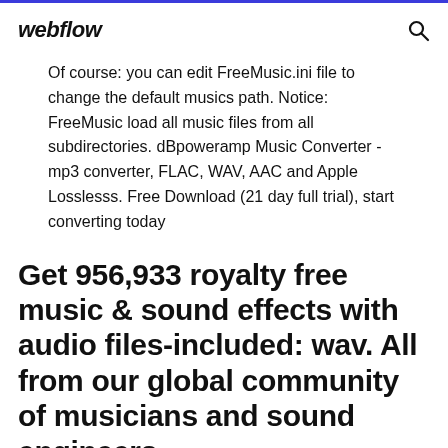webflow
Of course: you can edit FreeMusic.ini file to change the default musics path. Notice: FreeMusic load all music files from all subdirectories. dBpoweramp Music Converter - mp3 converter, FLAC, WAV, AAC and Apple Losslesss. Free Download (21 day full trial), start converting today
Get 956,933 royalty free music & sound effects with audio files-included: wav. All from our global community of musicians and sound engineers.